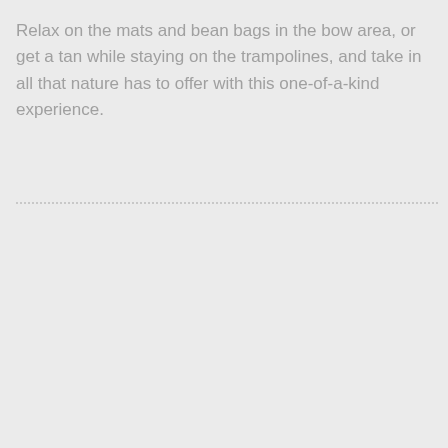Relax on the mats and bean bags in the bow area, or get a tan while staying on the trampolines, and take in all that nature has to offer with this one-of-a-kind experience.